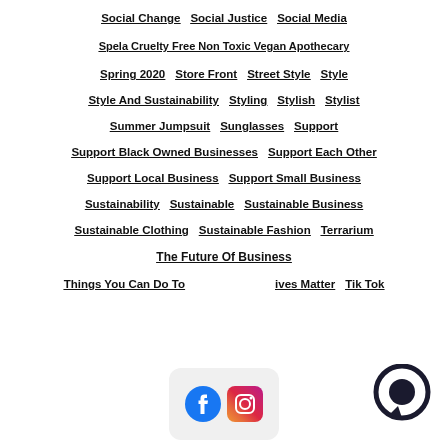Social Change · Social Justice · Social Media
Spela Cruelty Free Non Toxic Vegan Apothecary
Spring 2020 · Store Front · Street Style · Style
Style And Sustainability · Styling · Stylish · Stylist
Summer Jumpsuit · Sunglasses · Support
Support Black Owned Businesses · Support Each Other
Support Local Business · Support Small Business
Sustainability · Sustainable · Sustainable Business
Sustainable Clothing · Sustainable Fashion · Terrarium
The Future Of Business
Things You Can Do To · ...ives Matter · Tik Tok